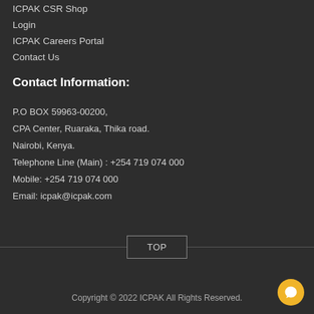ICPAK CSR Shop
Login
ICPAK Careers Portal
Contact Us
Contact Information:
P.O BOX 59963-00200,
CPA Center, Ruaraka, Thika road.
Nairobi, Kenya.
Telephone Line (Main) : +254 719 074 000
Mobile: +254 719 074 000
Email: icpak@icpak.com
TOP
Copyright © 2022 ICPAK All Rights Reserved.